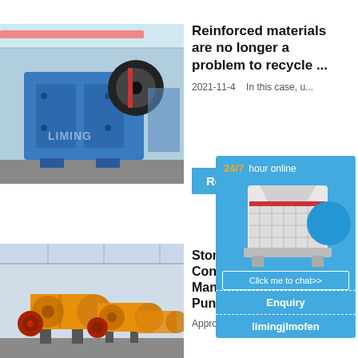[Figure (photo): Blue jaw crusher machine in an industrial factory setting]
Reinforced materials are no longer a problem to recycle ...
2021-11-4   In this case, u...
Read
[Figure (infographic): Chat popup overlay with '24/7 hour online' text, white impact crusher machine image, blue circle, 'Click me to chat>>' button, 'Enquiry' button, and 'limingjlmofen' button]
[Figure (photo): Yellow ball mill machines in an industrial factory setting]
Stone C... Consul... Manufa... Pune
Approx. R...